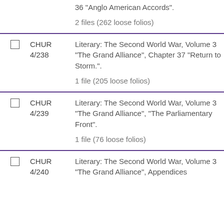36 "Anglo American Accords".
2 files (262 loose folios)
CHUR 4/238 — Literary: The Second World War, Volume 3 "The Grand Alliance", Chapter 37 "Return to Storm.".
1 file (205 loose folios)
CHUR 4/239 — Literary: The Second World War, Volume 3 "The Grand Alliance", "The Parliamentary Front".
1 file (76 loose folios)
CHUR 4/240 — Literary: The Second World War, Volume 3 "The Grand Alliance", Appendices